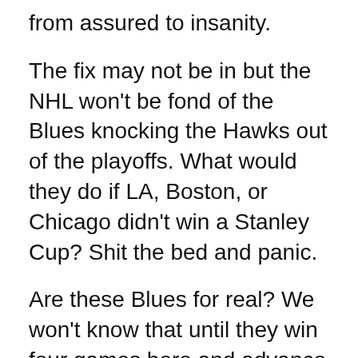from assured to insanity.
The fix may not be in but the NHL won't be fond of the Blues knocking the Hawks out of the playoffs. What would they do if LA, Boston, or Chicago didn't win a Stanley Cup? Shit the bed and panic.
Are these Blues for real? We won't know that until they win four games here and advance to the second round to dance another two weeks away. So far, they aren't going down. Tarasenko has 13 goals in 17 playoff games. Elliott is saving everything except gimme rebounds kicked out to baseball bat swingers named Duncan.
How much more can we get? Can the Blues bring home a 3-1 series lead Thursday? Let's keep our dirty minds in check until the Blues reign tall tonight in the